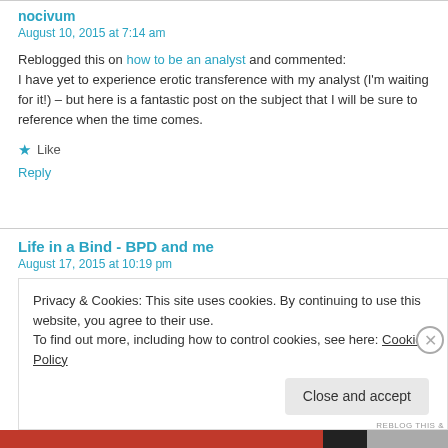nocivum
August 10, 2015 at 7:14 am
Reblogged this on how to be an analyst and commented: I have yet to experience erotic transference with my analyst (I'm waiting for it!) – but here is a fantastic post on the subject that I will be sure to reference when the time comes.
★ Like
Reply
Life in a Bind - BPD and me
August 17, 2015 at 10:19 pm
Privacy & Cookies: This site uses cookies. By continuing to use this website, you agree to their use. To find out more, including how to control cookies, see here: Cookie Policy
Close and accept